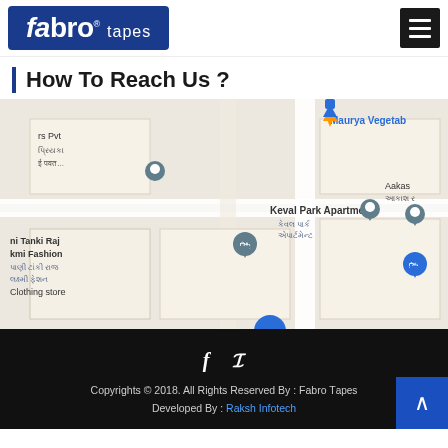fabro tapes logo and navigation
How To Reach Us ?
[Figure (map): Google Maps screenshot showing Keval Park Apartment area with location pins for Maurya Vegetables, Aakas, Pani Tanki Raj, Laxmi Fashion Clothing store, and other nearby places with Gujarati script labels.]
Copyrights © 2018. All Rights Reserved By : Fabro Tapes. Developed By : Raksh Infotech